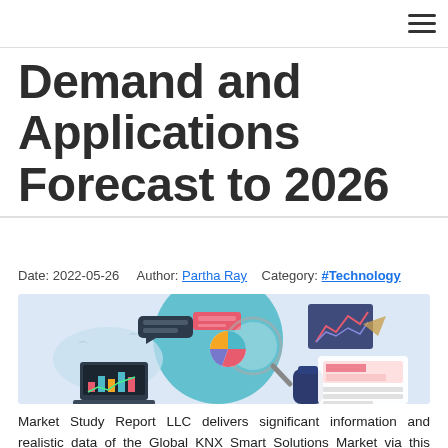☰
Demand and Applications Forecast to 2026
Date: 2022-05-26    Author: Partha Ray    Category: #Technology
[Figure (illustration): Market research illustration showing a person with a magnifying glass examining charts, graphs, a pie chart, a laptop with bar charts, and a line chart on a blue background.]
Market Study Report LLC delivers significant information and realistic data of the Global KNX Smart Solutions Market via this newly added research in its database. The report presents a deep study of the market growth factors and drivers. In-depth